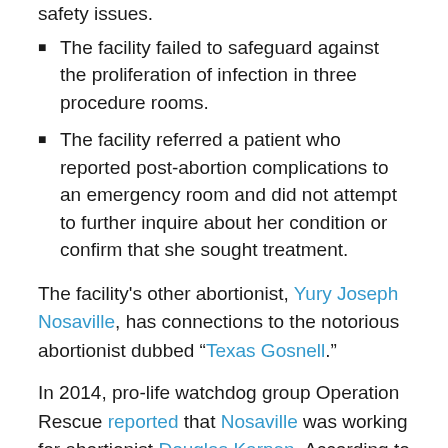The facility failed to safeguard against the proliferation of infection in three procedure rooms.
The facility referred a patient who reported post-abortion complications to an emergency room and did not attempt to further inquire about her condition or confirm that she sought treatment.
The facility's other abortionist, Yury Joseph Nosaville, has connections to the notorious abortionist dubbed “Texas Gosnell.”
In 2014, pro-life watchdog group Operation Rescue reported that Nosaville was working for abortionist Douglas Karpen. According to OR, Karpen’s “former abortion workers alleged that Karpen was intentionally killing babies born alive during abortions done by and the she did it by putting their in the cut constraint in